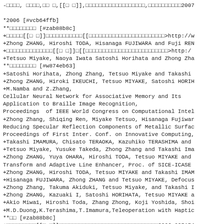-□□□□, □□□□,□□ □,[[ □ ]],□□□□□□□□□□□□□□□□□□,□□□□□□□□□□2007
*2006 [#vcb64ffb]
**□□□□□□□□ [#zab88b8c]
+□□□□□[[ □ ]]□□□□□□□□□□□[[□□□□□□□□□□□□□□□□□□□□□□□>http://w
+Zhong ZHANG, Hiroshi TODA, Hisanaga FUJIWARA and Fuji REN
+□□□□□□□□□□□□□□[[□ □]]□[[□□□□□□□□□□□□□□□□□□□□□□□□□>http:/
+Tetsuo Miyake, Naoya Iwata Satoshi Horihata and Zhong Zha
**□□□□□□□□ [#w874eb63]
+Satoshi Horihata, Zhong Zhang, Tetsuo Miyake and Takashi
+Zhong ZHANG, Hiroki IKEUCHI, Tetsuo MIYAKE, Satoshi HORIH
+M.Namba and Z.Zhang,
Cellular Neural Network for Associative Memory and Its
Application to Braille Image Recognition,
Proceedings  of IEEE World Congress on Computational Intel
+Zhong Zhang, Shiqing Ren, Miyake Tetsuo, Hisanaga Fujiwar
Reducing Specular Reflection Components of Metallic Surfac
Proceedings of First Inter. Conf. on Innovative Computing,
+Takashi IMAMURA, Chisato TERAOKA, Kazuhiko TERASHIMA and
+Tetsuo Miyake, Yusuke Takeda, Zhong Zhang and Takashi Ima
+Zhong ZHANG, Yuya OHARA, Hiroshi TODA, Tetsuo MIYAKE and
Transform and Adaptive Line Enhancer, Proc. of SICE-ICASE
+Zhong ZHANG, Hiroshi TODA, Tetsuo MIYAKE and Takashi IMAM
+Hisanaga FUJIWARA, Zhong ZHANG and Tetsuo MIYAKE, Defocus
+Zhong Zhang, Takuma Akiduki, Tetsuo Miyake, and Takashi I
+Zhong ZHANG, Kazuaki I, Satoshi HORIHATA, Tetsuo MIYAKE a
+Akio Miwa1, Hiroshi Toda, Zhang Zhong, Koji Yoshida, Shoi
+M.D.Duong,K.Terashima,T.Imamura,Teleoperation with Haptic
**□□ [#zab88b8c]
+□□□□□□□□□[[ □ ]]□□□□□□□□□□□□□□□□□□□□□□□□□□□□□□2006-025154